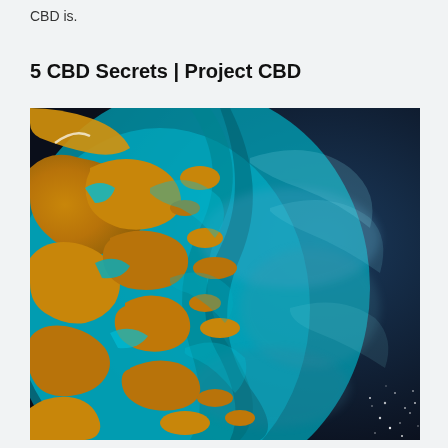CBD is.
5 CBD Secrets | Project CBD
[Figure (photo): Aerial or satellite photograph of a coastal region showing golden-brown land masses and islands interspersed with turquoise and deep blue ocean waters, transitioning from shallow cyan waters on the left to dark navy deep ocean on the right, with scattered bright specks in the lower right corner.]